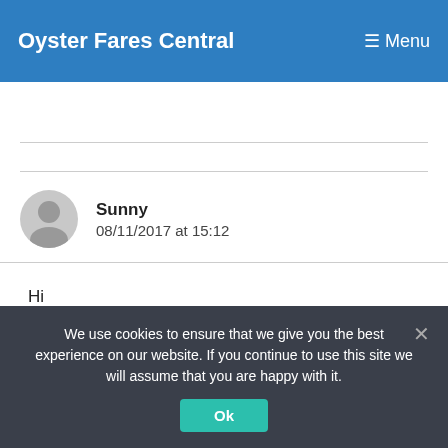Oyster Fares Central  ≡ Menu
Sunny
08/11/2017 at 15:12
Hi
What would be the cost for travel Monthly from Zone 6 to Canary wharf?
We use cookies to ensure that we give you the best experience on our website. If you continue to use this site we will assume that you are happy with it.